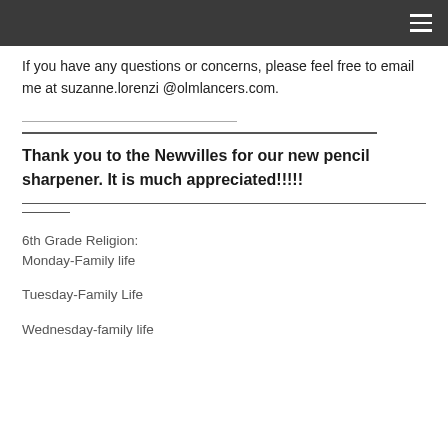If you have any questions or concerns, please feel free to email me at suzanne.lorenzi @olmlancers.com.
Thank you to the Newvilles for our new pencil sharpener.  It is much appreciated!!!!!
6th Grade Religion:
Monday-Family life
Tuesday-Family Life
Wednesday-family life